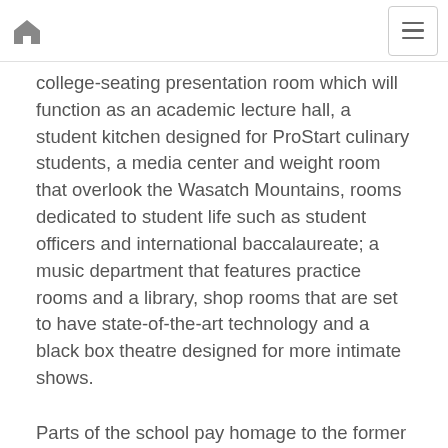Home | Menu
college-seating presentation room which will function as an academic lecture hall, a student kitchen designed for ProStart culinary students, a media center and weight room that overlook the Wasatch Mountains, rooms dedicated to student life such as student officers and international baccalaureate; a music department that features practice rooms and a library, shop rooms that are set to have state-of-the-art technology and a black box theatre designed for more intimate shows.
Parts of the school pay homage to the former building. The former basketball court from Art Hughes gymnasium has been placed on the walls outside of the new main gymnasium that features an indoor track around its top and near a dedicated wrestling room. The sports complex also includes a field house, which